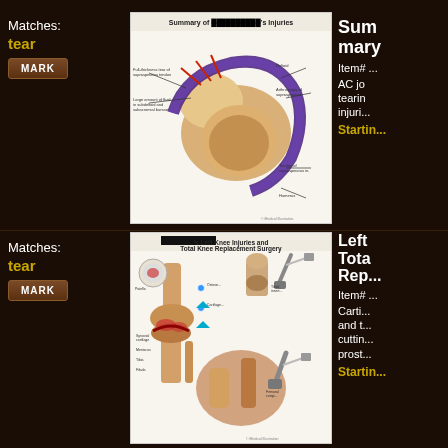Matches: tear
MARK
[Figure (illustration): Medical illustration: Summary of patient's injuries showing shoulder anatomy with labeled AC joint tear and surrounding structures including muscles, tendons and bones]
Summary of [REDACTED]'s Injuries
Item# ...
AC jo... tearin... injuri...
Startin...
Matches: tear
MARK
[Figure (illustration): Medical illustration: Left Knee Injuries and Total Knee Replacement Surgery showing cartilage damage, surgical procedure with cutting tools and prosthetic components]
Left Tota Repl...
Item# ...
Carti... and t... cuttin... prost...
Startin...